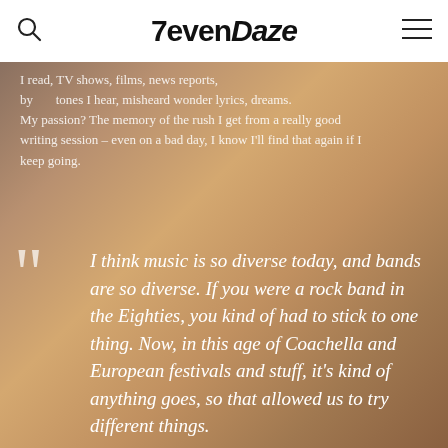7evenDaze
I read, TV shows, films, news reports, by stones I hear, misheard wonder lyrics, dreams. My passion? The memory of the rush I get from a really good writing session – even on a bad day, I know I'll find that again if I keep going.
I think music is so diverse today, and bands are so diverse. If you were a rock band in the Eighties, you kind of had to stick to one thing. Now, in this age of Coachella and European festivals and stuff, it's kind of anything goes, so that allowed us to try different things.